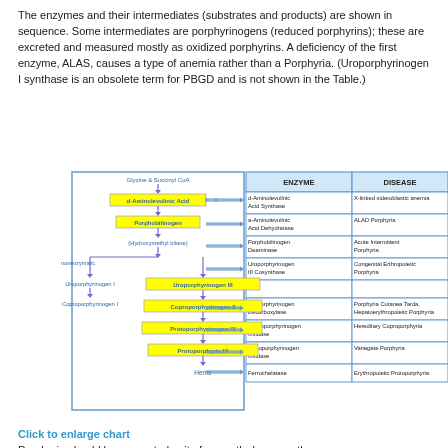The enzymes and their intermediates (substrates and products) are shown in sequence. Some intermediates are porphyrinogens (reduced porphyrins); these are excreted and measured mostly as oxidized porphyrins. A deficiency of the first enzyme, ALAS, causes a type of anemia rather than a Porphyria. (Uroporphyrinogen I synthase is an obsolete term for PBGD and is not shown in the Table.)
[Figure (flowchart): Heme biosynthesis pathway diagram showing left-side flow of intermediates (Glycine & Succinyl CoA -> d-Aminolevulinic Acid -> Porphobilinogen -> (Hydroxymethyl bilane) -> nonenzymatic branch to Uroporphyrinogen I -> Coproporphyrinogen I, and main branch -> Uroporphyrinogen III -> Coproporphyrinogen II -> Protoporphyrinogen IX -> Protoporphyrin IX -> Heme) and right-side table listing ENZYME and DISEASE columns with 8 rows.]
Click to enlarge chart
Porphyria should be suspected quite frequently, because the